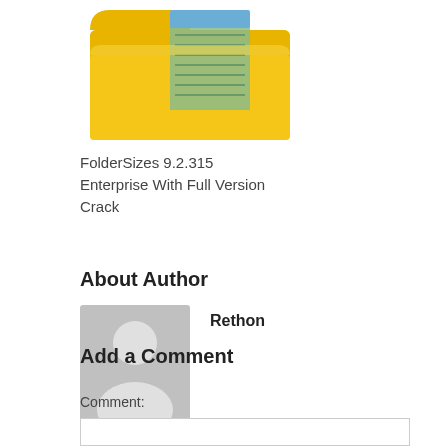[Figure (illustration): Yellow folder icon with a blue/green label strip, partially open, top portion cut off at top of page]
FolderSizes 9.2.315 Enterprise With Full Version Crack
About Author
[Figure (photo): Generic grey placeholder avatar/profile picture with silhouette of a person (head and shoulders)]
Rethon
Add a Comment
Comment: